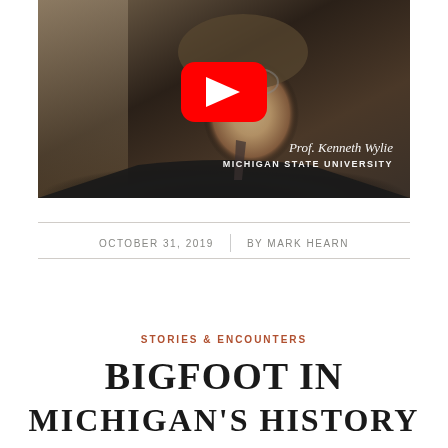[Figure (screenshot): Video thumbnail showing Prof. Kenneth Wylie from Michigan State University with a YouTube play button overlay. The subject is an older man with glasses and a mustache wearing a dark jacket. Text overlay reads 'Prof. Kenneth Wylie' in italic and 'MICHIGAN STATE UNIVERSITY' in capitals.]
OCTOBER 31, 2019  |  BY MARK HEARN
STORIES & ENCOUNTERS
BIGFOOT IN MICHIGAN'S HISTORY